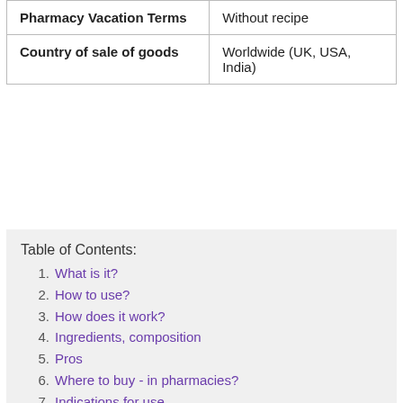|  |  |
| --- | --- |
| Pharmacy Vacation Terms | Without recipe |
| Country of sale of goods | Worldwide (UK, USA, India) |
Table of Contents:
1. What is it?
2. How to use?
3. How does it work?
4. Ingredients, composition
5. Pros
6. Where to buy - in pharmacies?
7. Indications for use
8. Contraindications
9. Doctor's review
10. Customer Reviews. Opinions, forum, comments